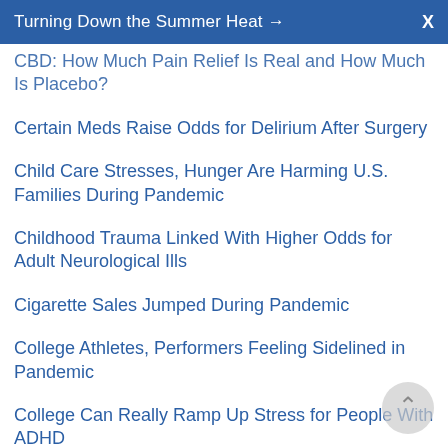Turning Down the Summer Heat → X
CBD: How Much Pain Relief Is Real and How Much Is Placebo?
Certain Meds Raise Odds for Delirium After Surgery
Child Care Stresses, Hunger Are Harming U.S. Families During Pandemic
Childhood Trauma Linked With Higher Odds for Adult Neurological Ills
Cigarette Sales Jumped During Pandemic
College Athletes, Performers Feeling Sidelined in Pandemic
College Can Really Ramp Up Stress for People With ADHD
College Freshmen Drank Less as Pandemic Began
College Students Feeling the Strain of Coronavirus
Common Form of Liver Cancer on the Rise in Rural